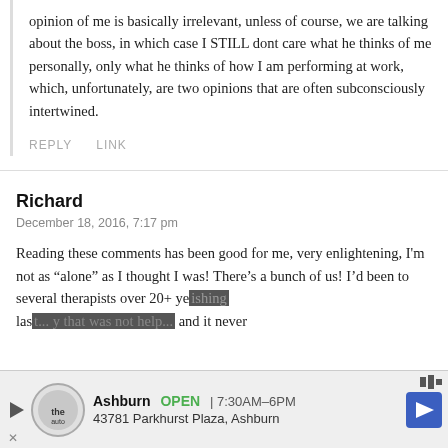opinion of me is basically irrelevant, unless of course, we are talking about the boss, in which case I STILL dont care what he thinks of me personally, only what he thinks of how I am performing at work, which, unfortunately, are two opinions that are often subconsciously intertwined.
REPLY   LINK
Richard
December 18, 2016, 7:17 pm
Reading these comments has been good for me, very enlightening, I'm not as "alone" as I thought I was! There's a bunch of us! I'd been to several therapists over 20+ ye... ishing last... y that was not help... and it never
[Figure (other): Advertisement banner for The Auto (Ashburn) showing OPEN 7:30AM-6PM, 43781 Parkhurst Plaza, Ashburn with navigation arrow icon and close/play controls]